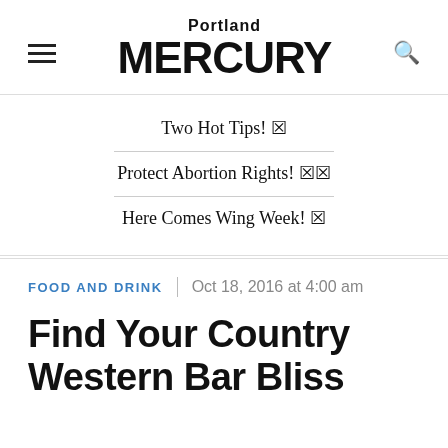Portland MERCURY
Two Hot Tips! 🔥
Protect Abortion Rights! 🔥🔥
Here Comes Wing Week! 🔥
FOOD AND DRINK | Oct 18, 2016 at 4:00 am
Find Your Country Western Bar Bliss